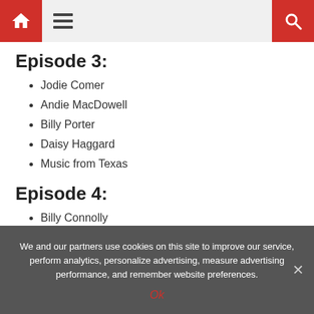Navigation bar with home, menu, and search icons
Episode 3:
Jodie Comer
Andie MacDowell
Billy Porter
Daisy Haggard
Music from Texas
Episode 4:
Billy Connolly
Jodie Whittaker
Tom Daley
We and our partners use cookies on this site to improve our service, perform analytics, personalize advertising, measure advertising performance, and remember website preferences.
Ok